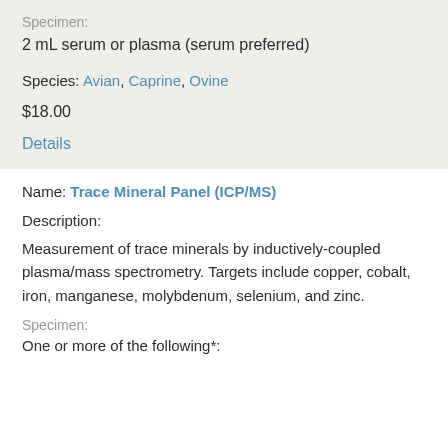Specimen:
2 mL serum or plasma (serum preferred)
Species: Avian, Caprine, Ovine
$18.00
Details
Name: Trace Mineral Panel (ICP/MS)
Description:
Measurement of trace minerals by inductively-coupled plasma/mass spectrometry.  Targets include copper, cobalt, iron, manganese, molybdenum, selenium, and zinc.
Specimen:
One or more of the following*: